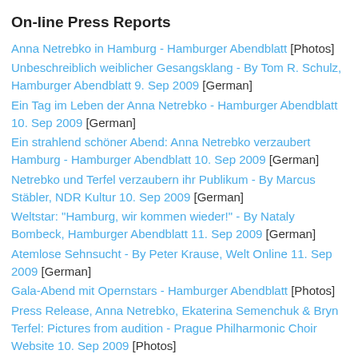On-line Press Reports
Anna Netrebko in Hamburg - Hamburger Abendblatt [Photos]
Unbeschreiblich weiblicher Gesangsklang - By Tom R. Schulz, Hamburger Abendblatt 9. Sep 2009 [German]
Ein Tag im Leben der Anna Netrebko - Hamburger Abendblatt 10. Sep 2009 [German]
Ein strahlend schöner Abend: Anna Netrebko verzaubert Hamburg - Hamburger Abendblatt 10. Sep 2009 [German]
Netrebko und Terfel verzaubern ihr Publikum - By Marcus Stäbler, NDR Kultur 10. Sep 2009 [German]
Weltstar: "Hamburg, wir kommen wieder!" - By Nataly Bombeck, Hamburger Abendblatt 11. Sep 2009 [German]
Atemlose Sehnsucht - By Peter Krause, Welt Online 11. Sep 2009 [German]
Gala-Abend mit Opernstars - Hamburger Abendblatt [Photos]
Press Release, Anna Netrebko, Ekaterina Semenchuk & Bryn Terfel: Pictures from audition - Prague Philharmonic Choir Website 10. Sep 2009 [Photos]
Anna Netrebko und Bryn Terfel in Hamburg - BR Bayern 4 Klassik 10. Sep 2009 [German] [Audioclip]
Photos